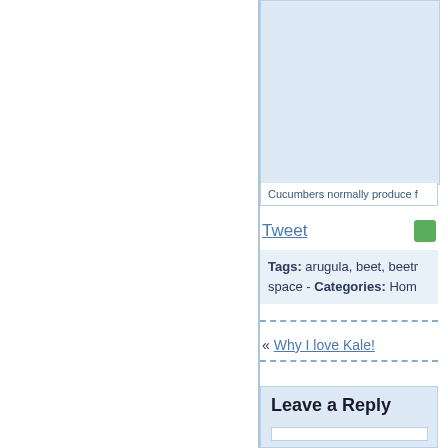[Figure (photo): Light blue image/photo box area, partially cropped on the right side of the page]
Cucumbers normally produce f
Tweet
Tags: arugula, beet, beetr space - Categories: Hom
« Why I love Kale!
Leave a Reply